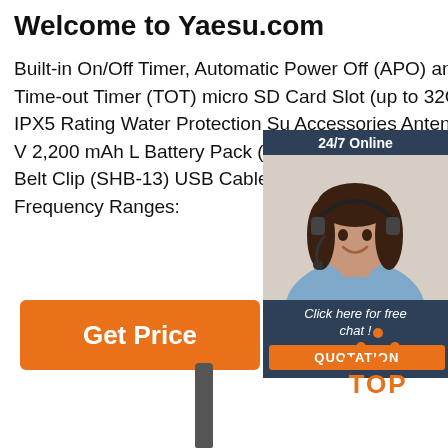Welcome to Yaesu.com
Built-in On/Off Timer, Automatic Power Off (APO) and Time-out Timer (TOT) micro SD Card Slot (up to 32GB) IPX5 Rating Water Protection Su Accessories Antenna 7.2 V 2,200 mAh L Battery Pack (SBR-14LI) Battery Charge Belt Clip (SHB-13) USB Cable Operating Specifications Frequency Ranges:
[Figure (photo): Chat widget showing a woman with headset, '24/7 Online' header, 'Click here for free chat!' text, and an orange QUOTATION button]
[Figure (other): Orange 'Get Price' button]
[Figure (logo): TOP logo with orange dots arranged in triangle above the text TOP]
[Figure (other): Grey antenna graphic]